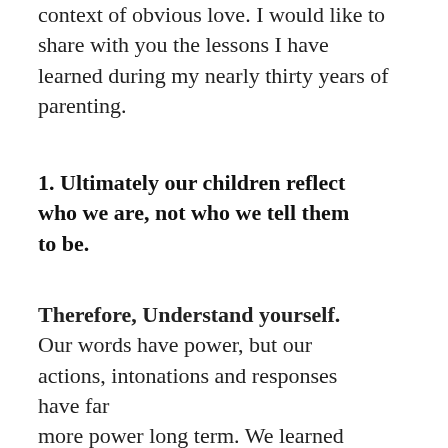context of obvious love. I would like to share with you the lessons I have learned during my nearly thirty years of parenting.
1. Ultimately our children reflect who we are, not who we tell them to be.
Therefore, Understand yourself. Our words have power, but our actions, intonations and responses have far more power long term. We learned this with our pets. If we were aggressive in our actions with our pets, our pets learned to be aggressive with us. If we were gentle with our
with us. If we were gentle with our